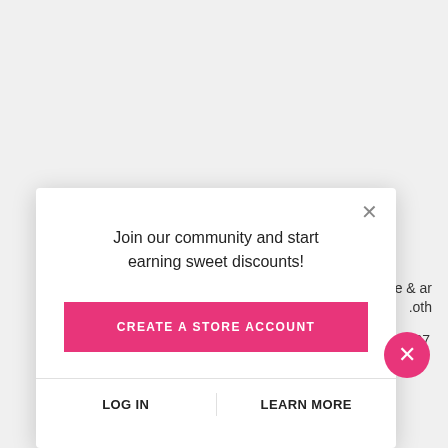White Nectarine & Pear 250ml Body Mist - WNP2217010
$238
White Nectarine & Pear 238ml Body Scrub - WNP2216008
$238
Join our community and start earning sweet discounts!
CREATE A STORE ACCOUNT
LOG IN
LEARN MORE
W
e & ar
.oth
007
$238
$288